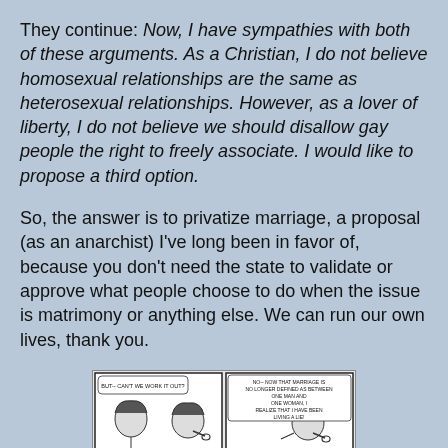They continue: Now, I have sympathies with both of these arguments. As a Christian, I do not believe homosexual relationships are the same as heterosexual relationships. However, as a lover of liberty, I do not believe we should disallow gay people the right to freely associate. I would like to propose a third option.
So, the answer is to privatize marriage, a proposal (as an anarchist) I've long been in favor of, because you don't need the state to validate or approve what people choose to do when the issue is matrimony or anything else. We can run our own lives, thank you.
[Figure (illustration): A four-panel comic strip in black and white. Panel 1: A woman says 'BUT-- CAN'T WE WORK IT OUT?' Panel 2: A man with a pipe says 'NO-- NOW THAT MARRIAGE IS NO LONGER DEFINED AS BETWEEN ONE MAN AND ONE WOMAN, I REALIZE THAT I HAVE BEEN LIVING A LIE!' Panel 3: The woman says 'YOU MEAN YOU'RE G-G-G-?' Panel 4: The man says '...GOING TO MARRY A HAMSTER. YES. CURSE THIS SLIPPERY SLOPE OF GAY MARRIAGE!']